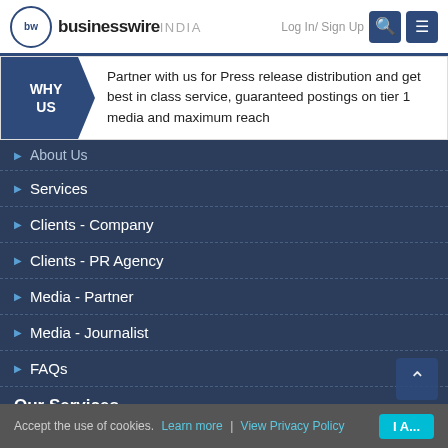businesswire INDIA | Log In/ Sign Up
WHY US | Partner with us for Press release distribution and get best in class service, guaranteed postings on tier 1 media and maximum reach
About Us
Services
Clients - Company
Clients - PR Agency
Media - Partner
Media - Journalist
FAQs
Our Services
Accept the use of cookies. Learn more | View Privacy Policy